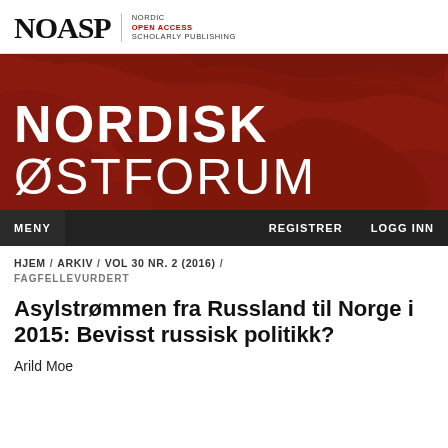NOASP NORDIC OPEN ACCESS SCHOLARLY PUBLISHING
[Figure (illustration): Nordisk Østforum journal banner with dark red background showing a stylized world map. Large white text reads 'NORDISK' in bold and 'ØSTFORUM' in light weight below. Navigation bar at bottom with MENY on left, REGISTRER and LOGG INN on right.]
HJEM / ARKIV / VOL 30 NR. 2 (2016) / FAGFELLEVURDERT
Asylstrømmen fra Russland til Norge i 2015: Bevisst russisk politikk?
Arild Moe